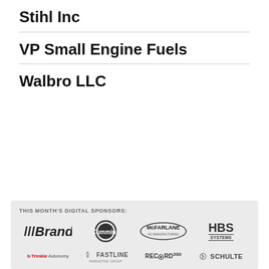Stihl Inc
VP Small Engine Fuels
Walbro LLC
THIS MONTH'S DIGITAL SPONSORS: Brandt, Cummins, McFarlane, HBS Systems, Trimble Autonomy, Fastline Marketing Group, Record360, Schulte